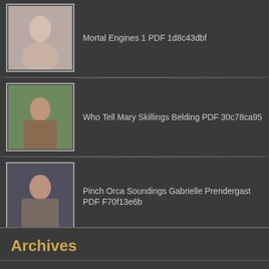Mortal Engines 1 PDF 1d8c43dbf
Who Tell Mary Skillings Belding PDF 30c78ca95
Pinch Orca Soundings Gabrielle Prendergast PDF F70f13e6b
Cheesus Was Here J Davis PDF 79d79ebe9
Archives